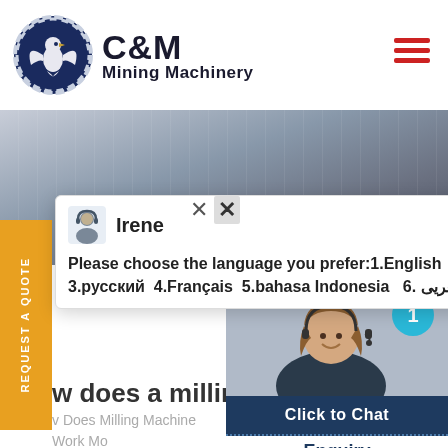[Figure (logo): C&M Mining Machinery logo with eagle in gear circle emblem and company name text]
[Figure (photo): Industrial machinery/milling equipment hero banner image]
[Figure (screenshot): Live chat popup with avatar of Irene showing language selection options]
Please choose the language you prefer:1.English  2.Español  3.русский  4.Français  5.bahasa Indonesia  6. عربسعريى
w does a milling mach
v Does Milling Machine Work Mo chines are machine tools for ch aracterized by the use of rotatin multiple cutting edges called preci designed to work flat cylindrical co surfaces and grooves. Chat Online
[Figure (photo): Customer service representative with headset, with Click to Chat button and Enquiry label]